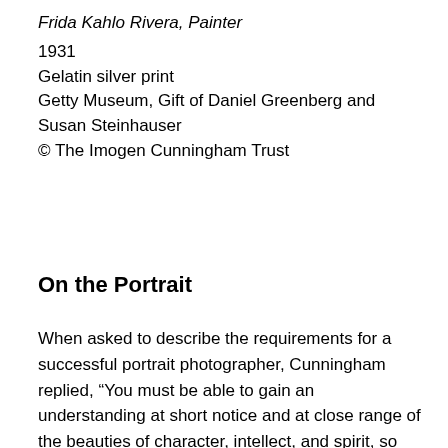Frida Kahlo Rivera, Painter
1931
Gelatin silver print
Getty Museum, Gift of Daniel Greenberg and Susan Steinhauser
© The Imogen Cunningham Trust
On the Portrait
When asked to describe the requirements for a successful portrait photographer, Cunningham replied, “You must be able to gain an understanding at short notice and at close range of the beauties of character, intellect, and spirit, so